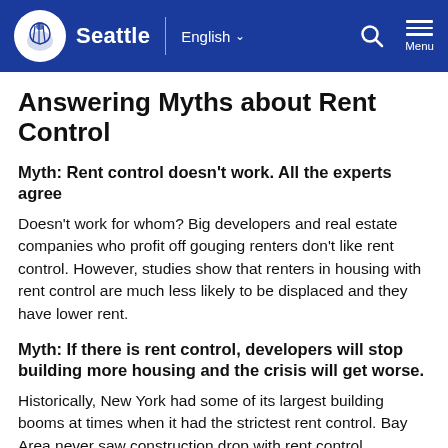Seattle | English  Menu
Answering Myths about Rent Control
Myth: Rent control doesn't work. All the experts agree
Doesn't work for whom? Big developers and real estate companies who profit off gouging renters don't like rent control. However, studies show that renters in housing with rent control are much less likely to be displaced and they have lower rent.
Myth: If there is rent control, developers will stop building more housing and the crisis will get worse.
Historically, New York had some of its largest building booms at times when it had the strictest rent control. Bay Area never saw construction drop with rent control.